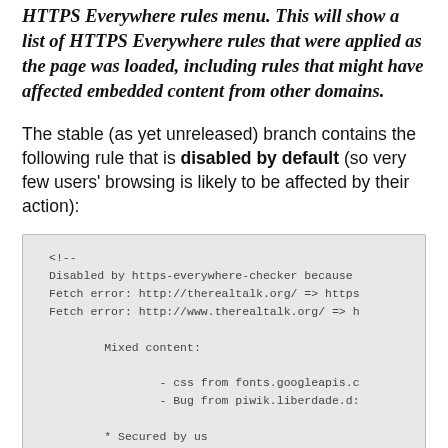HTTPS Everywhere rules menu. This will show a list of HTTPS Everywhere rules that were applied as the page was loaded, including rules that might have affected embedded content from other domains.
The stable (as yet unreleased) branch contains the following rule that is disabled by default (so very few users' browsing is likely to be affected by their action):
[Figure (screenshot): Code block showing a disabled HTTPS Everywhere rule with comments: <!-- Disabled by https-everywhere-checker because Fetch error: http://therealtalk.org/ => https... Fetch error: http://www.therealtalk.org/ => h... Mixed content: - css from fonts.googleapis.c... - Bug from piwik.liberdade.d... * Secured by us]